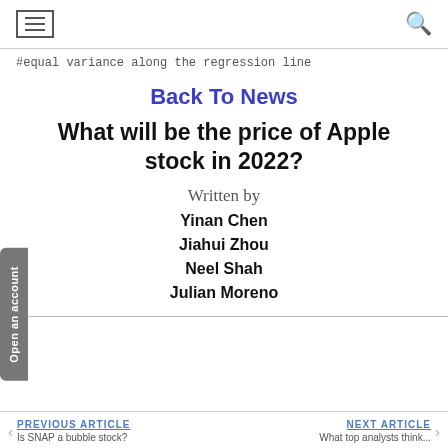≡  [hamburger menu]  [search icon]
#equal variance along the regression line
Back To News
What will be the price of Apple stock in 2022?
Written by
Yinan Chen
Jiahui Zhou
Neel Shah
Julian Moreno
PREVIOUS ARTICLE   NEXT ARTICLE